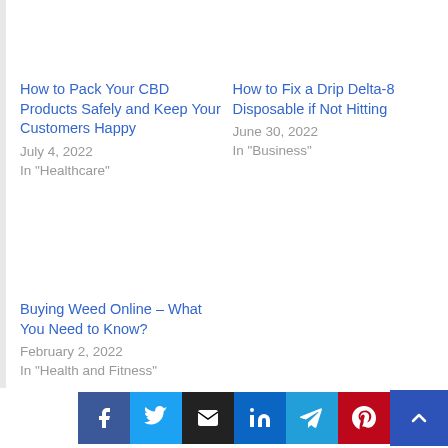How to Pack Your CBD Products Safely and Keep Your Customers Happy
July 4, 2022
In "Healthcare"
How to Fix a Drip Delta-8 Disposable if Not Hitting
June 30, 2022
In "Business"
Buying Weed Online – What You Need to Know?
February 2, 2022
In "Health and Fitness"